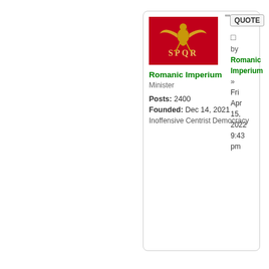[Figure (illustration): SPQR Roman eagle flag image on red background with gold eagle]
Romanic Imperium
Minister

Posts: 2400
Founded: Dec 14, 2021
Inoffensive Centrist Democracy
"QUOTE
□
by
Romanic Imperium
»
Fri Apr 15, 2022 9:43 pm